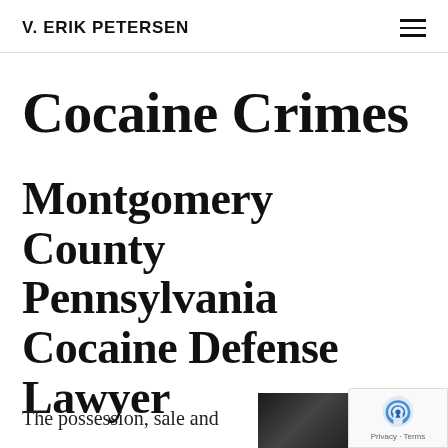V. ERIK PETERSEN
Cocaine Crimes
Montgomery County Pennsylvania Cocaine Defense Lawyer
The possession, sale and